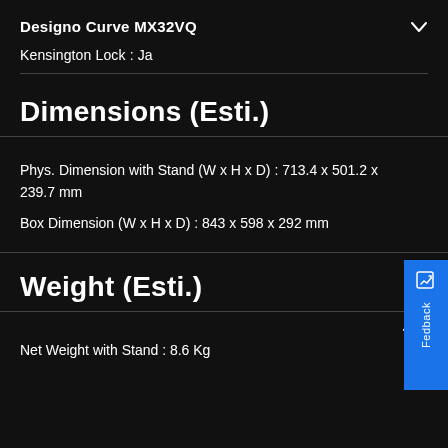Designo Curve MX32VQ
Kensington Lock : Ja
Dimensions (Esti.)
Phys. Dimension with Stand (W x H x D) : 713.4 x 501.2 x 239.7 mm
Box Dimension (W x H x D) : 843 x 598 x 292 mm
Weight (Esti.)
Net Weight with Stand : 8.6 Kg